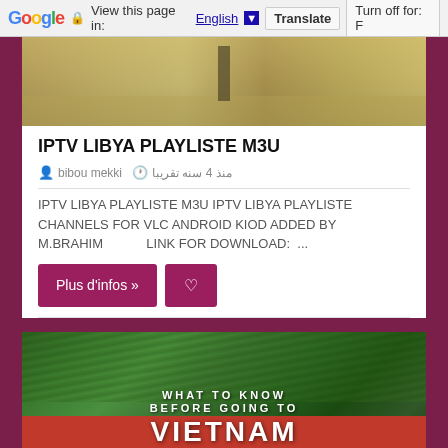Google  View this page in: English [▼]  Translate  Turn off for: F
[Figure (photo): Photo of a person in a public square with a green flag overhead]
IPTV LIBYA PLAYLISTE M3U
bibou mekki   منذ 4 سنه تقريبا
IPTV LIBYA PLAYLISTE M3U IPTV LIBYA PLAYLISTE CHANNELS FOR VLC ANDROID KIOD ADDED BY M.BRAHIM          LINK FOR DOWNLOAD:  ...
Plus d'infos »   ♡
[Figure (photo): Photo of green rice terraces with text overlay: WHAT TO KNOW BEFORE GOING TO VIETNAM]